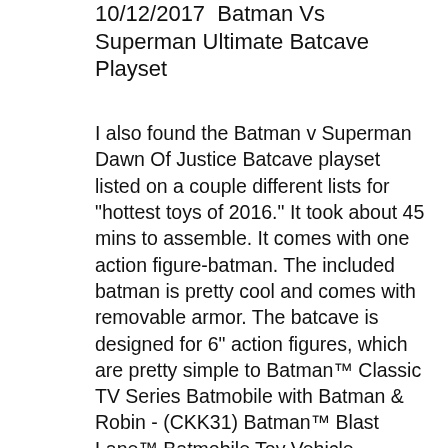10/12/2017  Batman Vs Superman Ultimate Batcave Playset
I also found the Batman v Superman Dawn Of Justice Batcave playset listed on a couple different lists for "hottest toys of 2016." It took about 45 mins to assemble. It comes with one action figure-batman. The included batman is pretty cool and comes with removable armor. The batcave is designed for 6" action figures, which are pretty simple to Batman™ Classic TV Series Batmobile with Batman & Robin - (CKK31) Batman™ Blast Lane™ Batmobile Toy Vehicle - (Y1258) Batman™ Missions™ True-Moves™ Robin™ Figure - (FVM71)